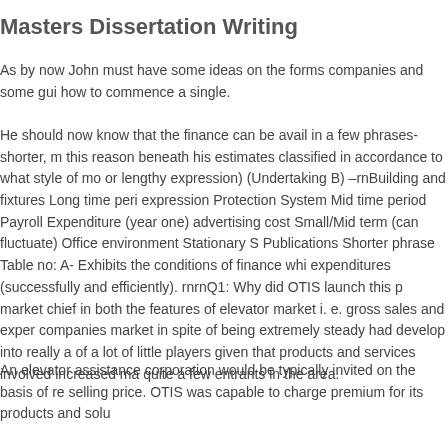Masters Dissertation Writing
As by now John must have some ideas on the forms companies and some gui how to commence a single.
He should now know that the finance can be avail in a few phrases- shorter, m this reason beneath his estimates classified in accordance to what style of mo or lengthy expression) (Undertaking B) –rnBuilding and fixtures Long time peri expression Protection System Mid time period Payroll Expenditure (year one) advertising cost Small/Mid term (can fluctuate) Office environment Stationary S Publications Shorter phrase Table no: A- Exhibits the conditions of finance whi expenditures (successfully and efficiently). rnrnQ1: Why did OTIS launch this p market chief in both the features of elevator market i. e. gross sales and exper companies market in spite of being extremely steady had develop into really a of a lot of little players given that products and services involved increased ma quite a few entrants in the area.
An elevator assistance corporation would be typically invited on the basis of re selling price. OTIS was capable to charge premium for its products and solu